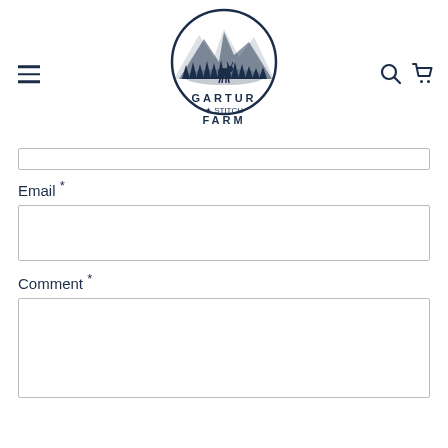[Figure (logo): Gartur Stitch Farm circular logo with mountains, trees, and farm animal silhouette, with text GARTUR STITCH FARM]
Email *
Comment *